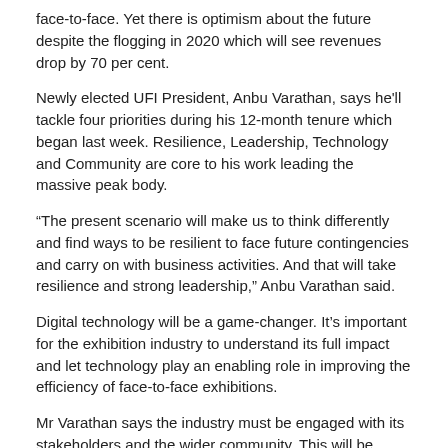face-to-face. Yet there is optimism about the future despite the flogging in 2020 which will see revenues drop by 70 per cent.
Newly elected UFI President, Anbu Varathan, says he'll tackle four priorities during his 12-month tenure which began last week. Resilience, Leadership, Technology and Community are core to his work leading the massive peak body.
“The present scenario will make us to think differently and find ways to be resilient to face future contingencies and carry on with business activities. And that will take resilience and strong leadership,” Anbu Varathan said.
Digital technology will be a game-changer. It’s important for the exhibition industry to understand its full impact and let technology play an enabling role in improving the efficiency of face-to-face exhibitions.
Mr Varathan says the industry must be engaged with its stakeholders and the wider community. This will be crucial for the exhibition industry to be more successful both at international and regional levels.
A seasoned player in large scale events and venues, his other roles are heading up both the Bangalore International Exhibition Centre (BIEC) and the Indian Machine Tool Manufacturers’ Association in India. His election to the Board reflects the changing profile of the industry and the emergence of India as a major player.